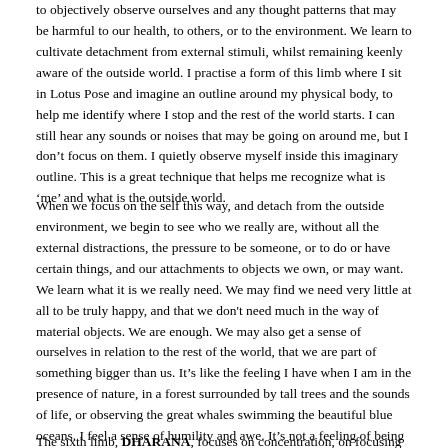to objectively observe ourselves and any thought patterns that may be harmful to our health, to others, or to the environment. We learn to cultivate detachment from external stimuli, whilst remaining keenly aware of the outside world. I practise a form of this limb where I sit in Lotus Pose and imagine an outline around my physical body, to help me identify where I stop and the rest of the world starts. I can still hear any sounds or noises that may be going on around me, but I don't focus on them. I quietly observe myself inside this imaginary outline. This is a great technique that helps me recognize what is 'me' and what is the outside world.
When we focus on the self this way, and detach from the outside environment, we begin to see who we really are, without all the external distractions, the pressure to be someone, or to do or have certain things, and our attachments to objects we own, or may want. We learn what it is we really need. We may find we need very little at all to be truly happy, and that we don't need much in the way of material objects. We are enough. We may also get a sense of ourselves in relation to the rest of the world, that we are part of something bigger than us. It's like the feeling I have when I am in the presence of nature, in a forest surrounded by tall trees and the sounds of life, or observing the great whales swimming the beautiful blue oceans. I feel a sense of humility and awe. It's not a feeling of being less than everything else, but more that I am but one small part of a greater whole.
The sixth limb, DHARANA, focuses on concentration, on focusing attention the...